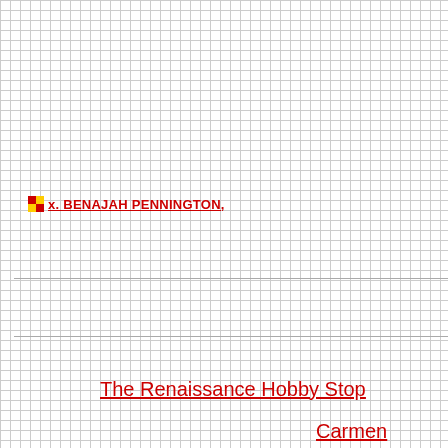x. BENAJAH PENNINGTON,
The Renaissance Hobby Stop
Carmen